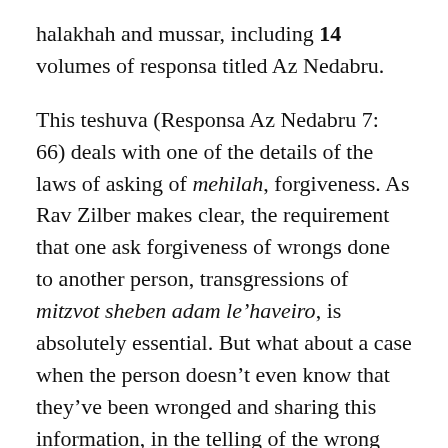halakhah and mussar, including 14 volumes of responsa titled Az Nedabru.
This teshuva (Responsa Az Nedabru 7: 66) deals with one of the details of the laws of asking of mehilah, forgiveness. As Rav Zilber makes clear, the requirement that one ask forgiveness of wrongs done to another person, transgressions of mitzvot sheben adam le'haveiro, is absolutely essential. But what about a case when the person doesn't even know that they've been wronged and sharing this information, in the telling of the wrong that you have done to them, will cause them pain and embarrassment? Should or may one ask for forgiveness in such a case?